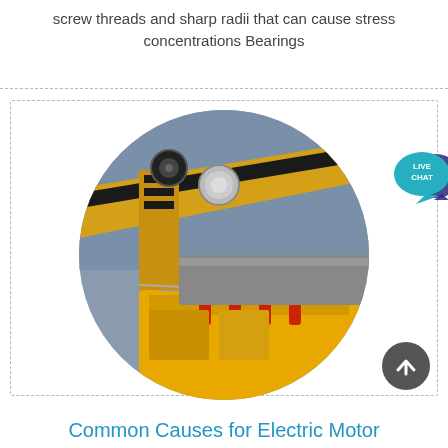screw threads and sharp radii that can cause stress concentrations Bearings
[Figure (photo): Circular cropped photograph of yellow industrial crane/construction machinery with red safety markers against a grey sky background]
Common Causes for Electric Motor